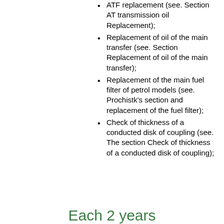ATF replacement (see. Section AT transmission oil Replacement);
Replacement of oil of the main transfer (see. Section Replacement of oil of the main transfer);
Replacement of the main fuel filter of petrol models (see. Prochistk's section and replacement of the fuel filter);
Check of thickness of a conducted disk of coupling (see. The section Check of thickness of a conducted disk of coupling);
Each 2 years